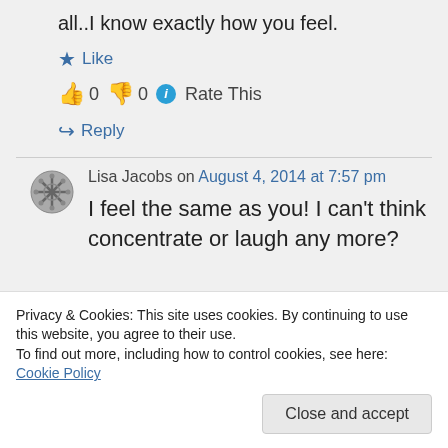all..I know exactly how you feel.
★ Like
👍 0 👎 0 ℹ Rate This
↪ Reply
Lisa Jacobs on August 4, 2014 at 7:57 pm
I feel the same as you! I can't think concentrate or laugh any more?
Privacy & Cookies: This site uses cookies. By continuing to use this website, you agree to their use. To find out more, including how to control cookies, see here: Cookie Policy